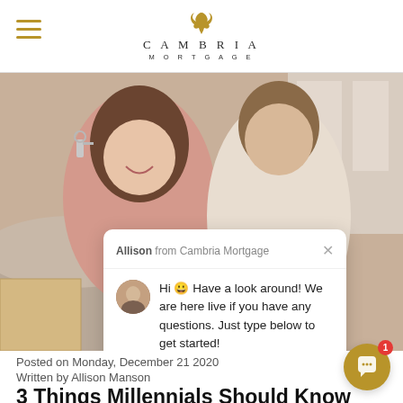Cambria Mortgage
[Figure (photo): Happy couple holding house keys, smiling, sitting indoors — hero image for mortgage blog post. Overlaid with a live chat popup from Allison at Cambria Mortgage saying: Hi 😀 Have a look around! We are here live if you have any questions. Just type below to get started! With a reply input field.]
Posted on Monday, December 21 2020
Written by Allison Manson
3 Things Millennials Should Know Going